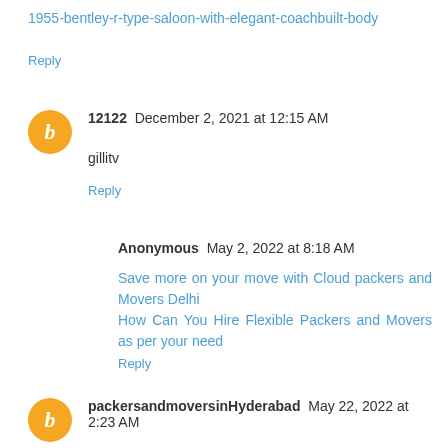1955-bentley-r-type-saloon-with-elegant-coachbuilt-body
Reply
12122  December 2, 2021 at 12:15 AM
gillitv
Reply
Anonymous  May 2, 2022 at 8:18 AM
Save more on your move with Cloud packers and Movers Delhi
How Can You Hire Flexible Packers and Movers as per your need
Reply
packersandmoversinHyderabad  May 22, 2022 at 2:23 AM